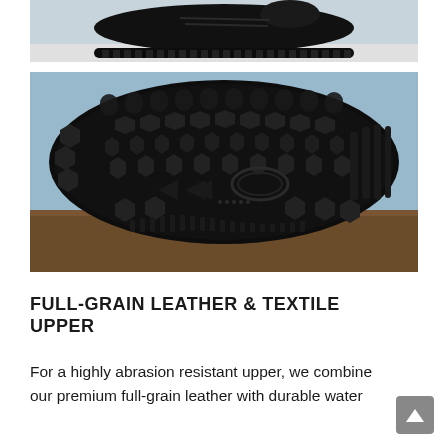[Figure (photo): Partial view of a black boot/shoe from the side and top showing the shoe upper and thick rubber sole with lug pattern, photographed on a light background.]
[Figure (photo): Bottom view of a black rubber outsole showing a complex lug pattern with hexagonal and star-shaped lugs, directional tread elements, and deep grooves for traction. The sole is resting on a wooden surface.]
FULL-GRAIN LEATHER & TEXTILE UPPER
For a highly abrasion resistant upper, we combine our premium full-grain leather with durable water